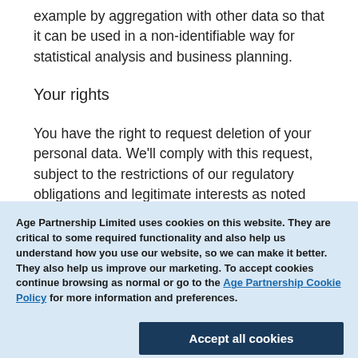example by aggregation with other data so that it can be used in a non-identifiable way for statistical analysis and business planning.
Your rights
You have the right to request deletion of your personal data. We'll comply with this request, subject to the restrictions of our regulatory obligations and legitimate interests as noted
Age Partnership Limited uses cookies on this website. They are critical to some required functionality and also help us understand how you use our website, so we can make it better. They also help us improve our marketing. To accept cookies continue browsing as normal or go to the Age Partnership Cookie Policy for more information and preferences.